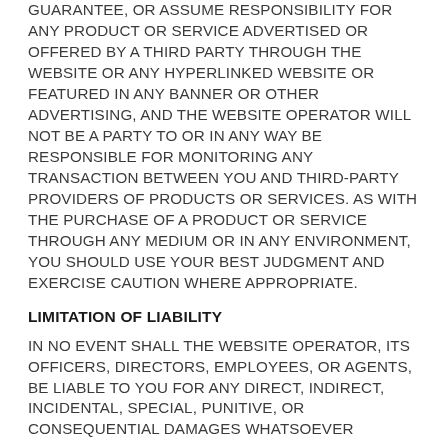GUARANTEE, OR ASSUME RESPONSIBILITY FOR ANY PRODUCT OR SERVICE ADVERTISED OR OFFERED BY A THIRD PARTY THROUGH THE WEBSITE OR ANY HYPERLINKED WEBSITE OR FEATURED IN ANY BANNER OR OTHER ADVERTISING, AND THE WEBSITE OPERATOR WILL NOT BE A PARTY TO OR IN ANY WAY BE RESPONSIBLE FOR MONITORING ANY TRANSACTION BETWEEN YOU AND THIRD-PARTY PROVIDERS OF PRODUCTS OR SERVICES. AS WITH THE PURCHASE OF A PRODUCT OR SERVICE THROUGH ANY MEDIUM OR IN ANY ENVIRONMENT, YOU SHOULD USE YOUR BEST JUDGMENT AND EXERCISE CAUTION WHERE APPROPRIATE.
LIMITATION OF LIABILITY
IN NO EVENT SHALL THE WEBSITE OPERATOR, ITS OFFICERS, DIRECTORS, EMPLOYEES, OR AGENTS, BE LIABLE TO YOU FOR ANY DIRECT, INDIRECT, INCIDENTAL, SPECIAL, PUNITIVE, OR CONSEQUENTIAL DAMAGES WHATSOEVER